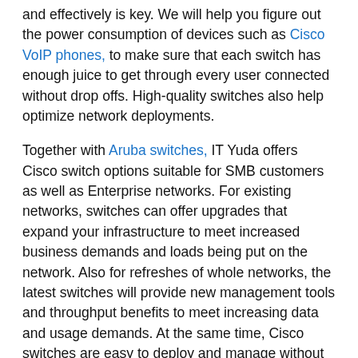and effectively is key. We will help you figure out the power consumption of devices such as Cisco VoIP phones, to make sure that each switch has enough juice to get through every user connected without drop offs. High-quality switches also help optimize network deployments.
Together with Aruba switches, IT Yuda offers Cisco switch options suitable for SMB customers as well as Enterprise networks. For existing networks, switches can offer upgrades that expand your infrastructure to meet increased business demands and loads being put on the network. Also for refreshes of whole networks, the latest switches will provide new management tools and throughput benefits to meet increasing data and usage demands. At the same time, Cisco switches are easy to deploy and manage without a large IT staff.
With the right Cisco PoE switch, it is possible to connect to a secondary power source and pass power on to any endpoint device connected to the switch. A Cisco PoE switch offers